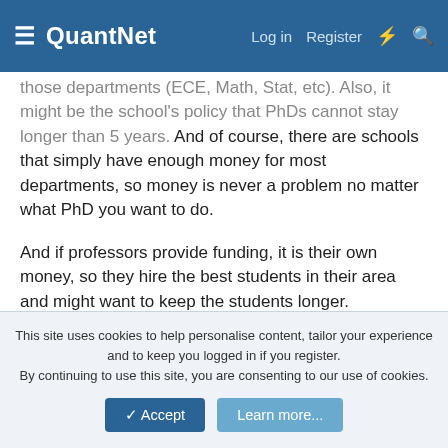QuantNet | Log in | Register
those departments (ECE, Math, Stat, etc). Also, it might be the school's policy that PhDs cannot stay longer than 5 years. And of course, there are schools that simply have enough money for most departments, so money is never a problem no matter what PhD you want to do.
And if professors provide funding, it is their own money, so they hire the best students in their area and might want to keep the students longer.
Now about TAs teaching courses. I don't think it has much to do with "lazy professors". It has more to do with the school trying to save money. If there is a student who can (i.e., knowleadgeable enough and can handle the class) teach his/her own class, then the school will pay the student much less than they pay
This site uses cookies to help personalise content, tailor your experience and to keep you logged in if you register.
By continuing to use this site, you are consenting to our use of cookies.